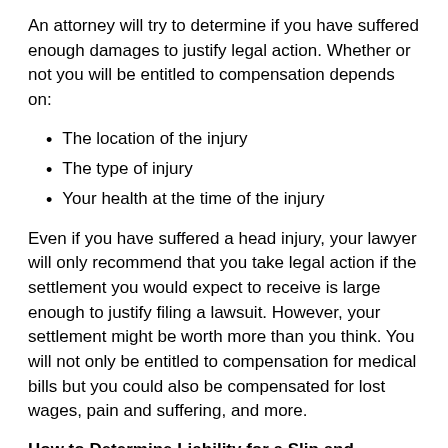An attorney will try to determine if you have suffered enough damages to justify legal action. Whether or not you will be entitled to compensation depends on:
The location of the injury
The type of injury
Your health at the time of the injury
Even if you have suffered a head injury, your lawyer will only recommend that you take legal action if the settlement you would expect to receive is large enough to justify filing a lawsuit. However, your settlement might be worth more than you think. You will not only be entitled to compensation for medical bills but you could also be compensated for lost wages, pain and suffering, and more.
How to Determine Liability for a Slip and